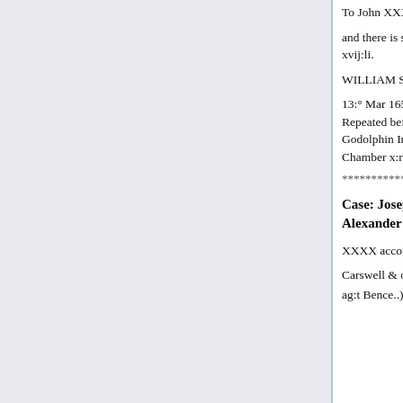To John XXXX 19:li. 11:s To Thomas Constance 26:li XX
and there is still owing to him XXXX as he beleeveth To Charles XXXX xvij:li.
WILLIAM SYMMES [His signature]
13:° Mar 1657.
Repeated before droe)
Godolphin In his)
Chamber x:r)
************************************************
Case: Joseph Careswell and others ag:t Alexander Bence: Answer: Alexander Bence: Date: April 5th 1658
XXXX accounted to the Judges the 20:th of March 1657
Carswell & others)
ag:t Bence..)